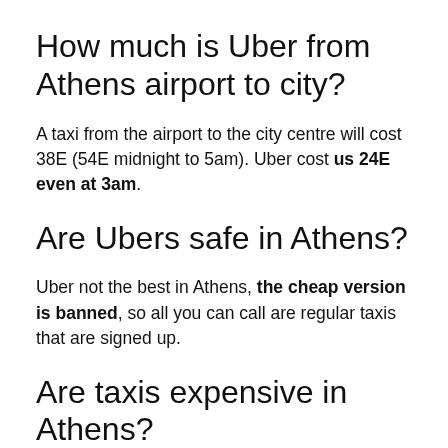How much is Uber from Athens airport to city?
A taxi from the airport to the city centre will cost 38E (54E midnight to 5am). Uber cost us 24E even at 3am.
Are Ubers safe in Athens?
Uber not the best in Athens, the cheap version is banned, so all you can call are regular taxis that are signed up.
Are taxis expensive in Athens?